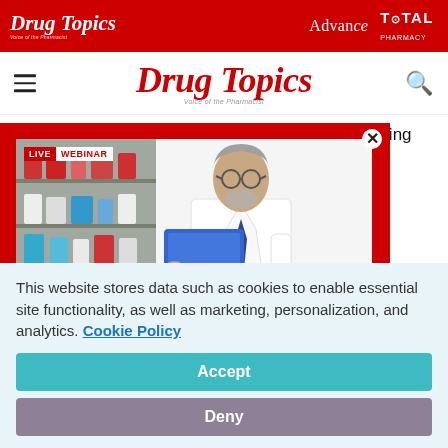Drug Topics | Advance | TOTAL PHARMACY
Drug Topics — Voice of the Pharmacist
Generex Biotechnology Corp., Toronto, is developing an oral [device in] [of insulin. It] [very system] [d that the]
[Figure (photo): Live Webinar modal with a pharmacist in white coat holding a blue tablet, standing in front of pharmacy shelves with medication bottles. LIVE WEBINAR badge in upper left corner. Red border. X close button.]
This website stores data such as cookies to enable essential site functionality, as well as marketing, personalization, and analytics. Cookie Policy
Accept
Deny